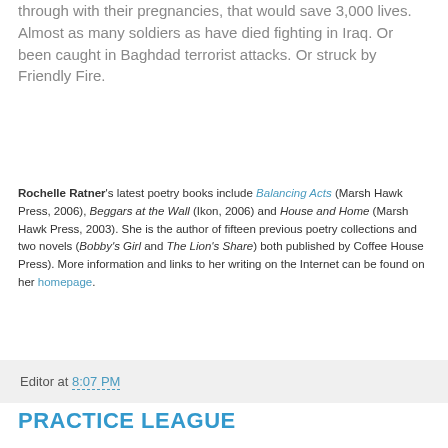through with their pregnancies, that would save 3,000 lives. Almost as many soldiers as have died fighting in Iraq. Or been caught in Baghdad terrorist attacks. Or struck by Friendly Fire.
Rochelle Ratner's latest poetry books include Balancing Acts (Marsh Hawk Press, 2006), Beggars at the Wall (Ikon, 2006) and House and Home (Marsh Hawk Press, 2003). She is the author of fifteen previous poetry collections and two novels (Bobby's Girl and The Lion's Share) both published by Coffee House Press). More information and links to her writing on the Internet can be found on her homepage.
Editor at 8:07 PM
PRACTICE LEAGUE